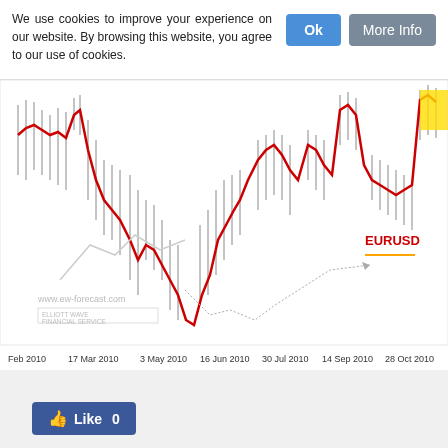We use cookies to improve your experience on our website. By browsing this website, you agree to our use of cookies.
[Figure (continuous-plot): EURUSD candlestick/line chart from February 2010 to October 2010 with red line overlay showing price movement. The chart shows a significant decline from around Feb 2010 to May 2010, followed by a recovery and subsequent decline and recovery. Watermark shows www.ew-forecast.com and Elliott Wave Financial Service logo. Label 'EURUSD' appears in red on the right side.]
Like 0